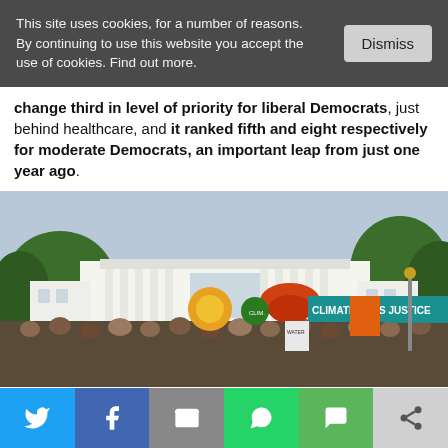This site uses cookies, for a number of reasons. By continuing to use this website you accept the use of cookies. Find out more.
change third in level of priority for liberal Democrats, just behind healthcare, and it ranked fifth and eight respectively for moderate Democrats, an important leap from just one year ago.
[Figure (photo): Crowd of protesters holding signs including 'CLIMATE JOBS JUSTICE' banner in front of the White House]
[Figure (infographic): Social share bar with Twitter, Facebook, Email, WhatsApp, SMS, and Share icons]